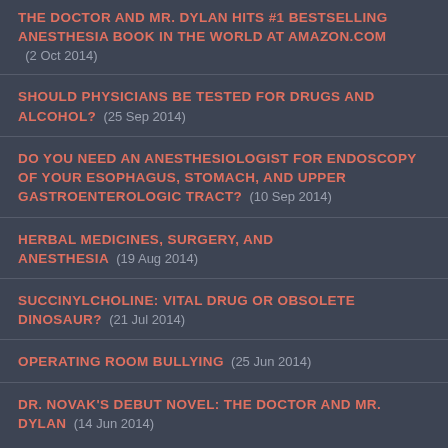THE DOCTOR AND MR. DYLAN HITS #1 BESTSELLING ANESTHESIA BOOK IN THE WORLD AT AMAZON.COM  (2 Oct 2014)
SHOULD PHYSICIANS BE TESTED FOR DRUGS AND ALCOHOL?  (25 Sep 2014)
DO YOU NEED AN ANESTHESIOLOGIST FOR ENDOSCOPY OF YOUR ESOPHAGUS, STOMACH, AND UPPER GASTROENTEROLOGIC TRACT?  (10 Sep 2014)
HERBAL MEDICINES, SURGERY, AND ANESTHESIA  (19 Aug 2014)
SUCCINYLCHOLINE: VITAL DRUG OR OBSOLETE DINOSAUR?  (21 Jul 2014)
OPERATING ROOM BULLYING  (25 Jun 2014)
DR. NOVAK'S DEBUT NOVEL: THE DOCTOR AND MR. DYLAN  (14 Jun 2014)